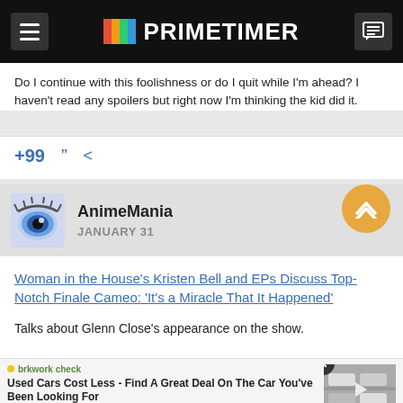PRIMETIMER
Do I continue with this foolishness or do I quit while I'm ahead? I haven't read any spoilers but right now I'm thinking the kid did it.
AnimeMania
JANUARY 31
Woman in the House's Kristen Bell and EPs Discuss Top-Notch Finale Cameo: 'It's a Miracle That It Happened'
Talks about Glenn Close's appearance on the show.
Used Cars Cost Less - Find A Great Deal On The Car You've Been Looking For
Search for Toyota Used Cars
The W... unique fight so...